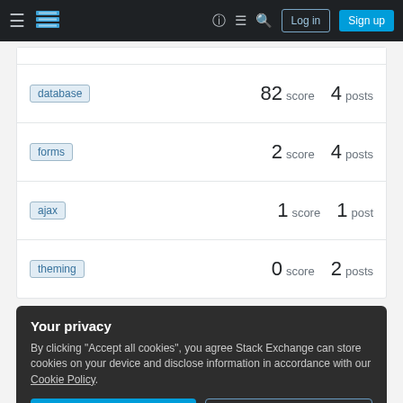Stack Exchange navigation bar with hamburger menu, logo, help, chat, search, Log in, Sign up
| tag | score | posts |
| --- | --- | --- |
| database | 82 | 4 |
| forms | 2 | 4 |
| ajax | 1 | 1 |
| theming | 0 | 2 |
Your privacy
By clicking "Accept all cookies", you agree Stack Exchange can store cookies on your device and disclose information in accordance with our Cookie Policy.
Accept all cookies
Customize settings
Badges
View all badges